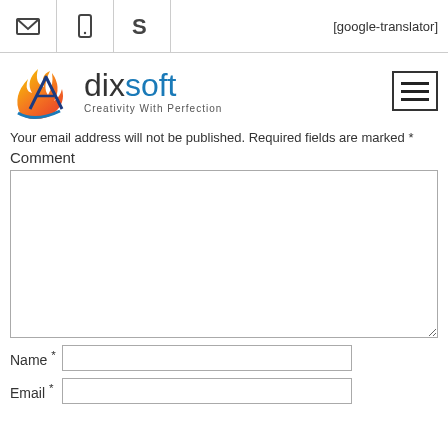[google-translator]
[Figure (logo): Dixsoft logo with flame/arrow graphic and tagline 'Creativity With Perfection']
Your email address will not be published. Required fields are marked *
Comment
Name *
Email *